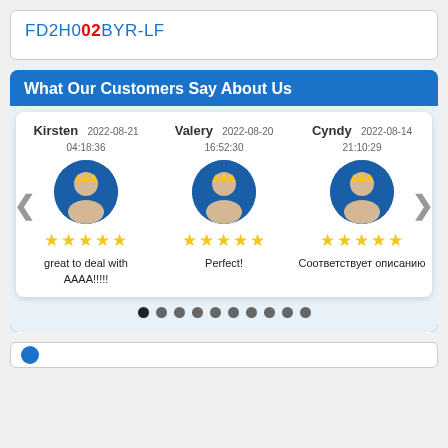FD2H002BYR-LF
What Our Customers Say About Us
[Figure (infographic): Customer reviews carousel showing three reviews: Kirsten (2022-08-21 04:18:36, 5 stars, 'great to deal with AAAA!!!!!'), Valery (2022-08-20 16:52:30, 5 stars, 'Perfect!'), Cyndy (2022-08-14 21:10:29, 5 stars, 'Соответствует описанию'). Navigation arrows on left and right sides, and 10 pagination dots below.]